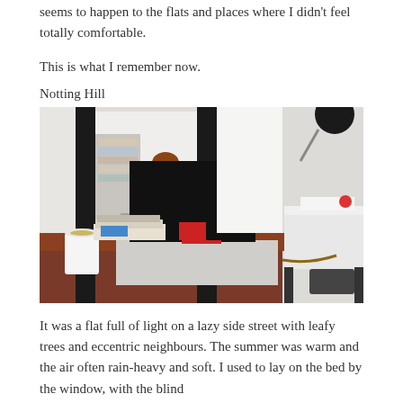seems to happen to the flats and places where I didn't feel totally comfortable.
This is what I remember now.
Notting Hill
[Figure (photo): A mirror selfie of a person with short auburn hair holding a camera, sitting at a desk with an open laptop (ASUS), a mug of tea, papers and magazines, in a bright white room with black-framed mirror panels. To the right is a white coffee table with a power strip and small red object. A lamp is visible in the top right corner.]
It was a flat full of light on a lazy side street with leafy trees and eccentric neighbours. The summer was warm and the air often rain-heavy and soft. I used to lay on the bed by the window, with the blind